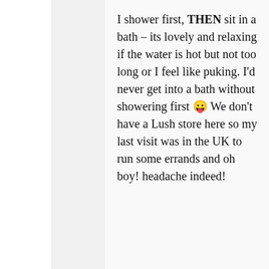I shower first, THEN sit in a bath – its lovely and relaxing if the water is hot but not too long or I feel like puking. I'd never get into a bath without showering first 😛 We don't have a Lush store here so my last visit was in the UK to run some errands and oh boy! headache indeed!